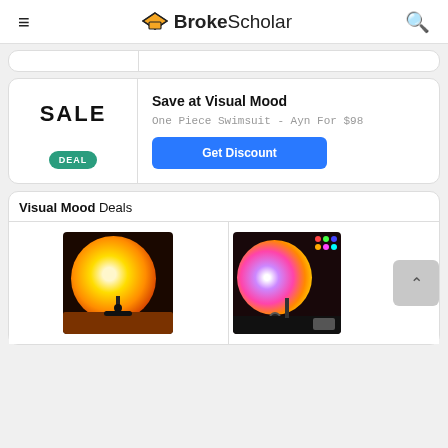BrokeScholar
[Figure (screenshot): Partial top card strip with two columns]
[Figure (infographic): Sale card with DEAL badge, Save at Visual Mood title, One Piece Swimsuit - Ayn For $98, and Get Discount button]
Visual Mood Deals
[Figure (photo): Sunset lamp projector with warm orange glow on table]
[Figure (photo): Color changing ring light with remote and sunset projection]